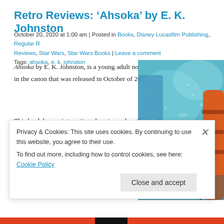Retro Reviews: ‘Ahsoka’ by E. K. Johnston
October 20, 2020 at 1:00 am | Posted in Books, Disney Lucasfilm Publishing, Regular Reviews, Star Wars, Star Wars Books | Leave a comment
Tags: ahsoka, e. k. johnston
Ahsoka by E. K. Johnston, is a young adult novel in the canon that was released in October of 2016.
This book has an interesting place in my heart, because I had already started reading Star Wars books in 2016, but this was the first book that I bought on release day and read in a 24 hour period of time.
[Figure (photo): Illustration or artwork of Ahsoka Tano character with orange skin and blue/teal background, lightsaber visible]
Privacy & Cookies: This site uses cookies. By continuing to use this website, you agree to their use.
To find out more, including how to control cookies, see here: Cookie Policy
Close and accept